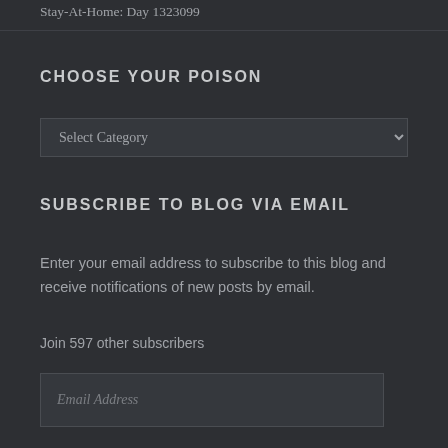Stay-At-Home: Day 1323099
CHOOSE YOUR POISON
[Figure (screenshot): Dropdown select widget with placeholder text 'Select Category']
SUBSCRIBE TO BLOG VIA EMAIL
Enter your email address to subscribe to this blog and receive notifications of new posts by email.
Join 597 other subscribers
[Figure (screenshot): Email address input field with placeholder text 'Email Address']